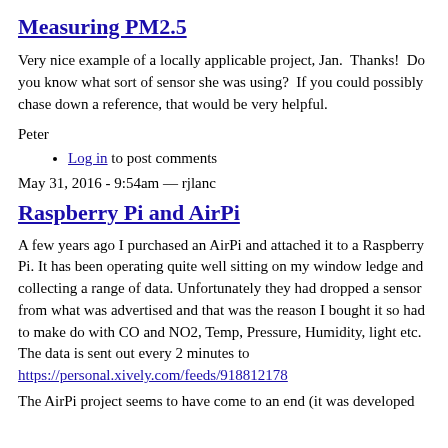Measuring PM2.5
Very nice example of a locally applicable project, Jan.  Thanks!  Do you know what sort of sensor she was using?  If you could possibly chase down a reference, that would be very helpful.
Peter
Log in to post comments
May 31, 2016 - 9:54am — rjlanc
Raspberry Pi and AirPi
A few years ago I purchased an AirPi and attached it to a Raspberry Pi. It has been operating quite well sitting on my window ledge and collecting a range of data. Unfortunately they had dropped a sensor from what was advertised and that was the reason I bought it so had to make do with CO and NO2, Temp, Pressure, Humidity, light etc. The data is sent out every 2 minutes to https://personal.xively.com/feeds/918812178
The AirPi project seems to have come to an end (it was developed